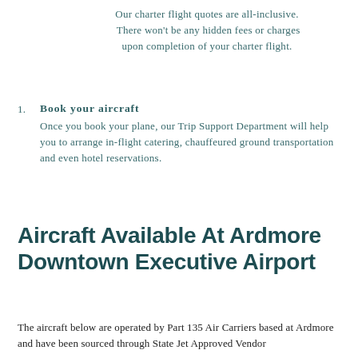Our charter flight quotes are all-inclusive. There won't be any hidden fees or charges upon completion of your charter flight.
Book your aircraft
Once you book your plane, our Trip Support Department will help you to arrange in-flight catering, chauffeured ground transportation and even hotel reservations.
Aircraft Available At Ardmore Downtown Executive Airport
The aircraft below are operated by Part 135 Air Carriers based at Ardmore and have been sourced through State Jet Approved Vendor